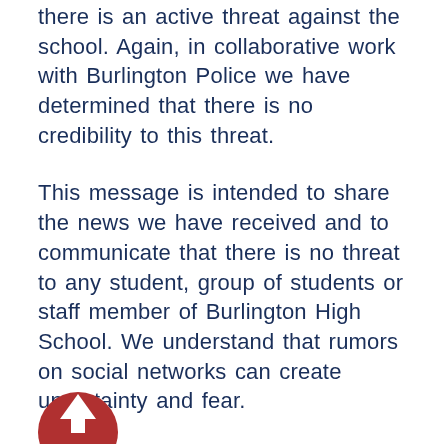there is an active threat against the school. Again, in collaborative work with Burlington Police we have determined that there is no credibility to this threat.
This message is intended to share the news we have received and to communicate that there is no threat to any student, group of students or staff member of Burlington High School. We understand that rumors on social networks can create uncertainty and fear.
As a precaution, the Burlington Police Department will provide additional resources during filing and removal from BHS until the winter break.
Each time our information is presented, our hard policies and procedures are designed to